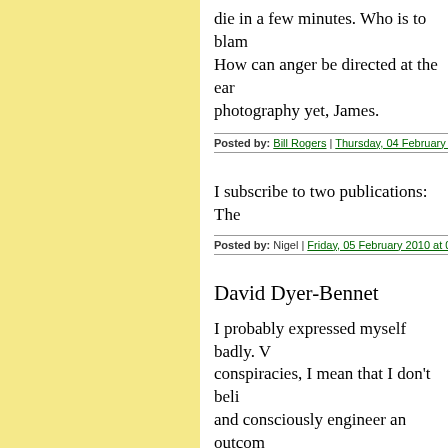die in a few minutes. Who is to blam How can anger be directed at the ear photography yet, James.
Posted by: Bill Rogers | Thursday, 04 February 2010 a
I subscribe to two publications: The
Posted by: Nigel | Friday, 05 February 2010 at 06:36 A
David Dyer-Bennet
I probably expressed myself badly. V conspiracies, I mean that I don't beli and consciously engineer an outcom don't think people can behave that w or cooperative enough, in my limite get three people in a room to agree o
When you relax supervisory rules o inevitably some benefit at the expens